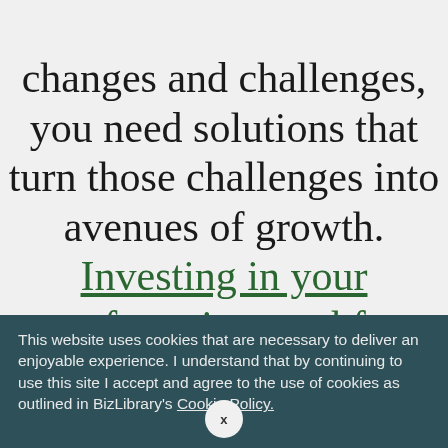changes and challenges, you need solutions that turn those challenges into avenues of growth. Investing in your manufacturing workforce with BizLibrary's modern training and development helps you
This website uses cookies that are necessary to deliver an enjoyable experience. I understand that by continuing to use this site I accept and agree to the use of cookies as outlined in BizLibrary's Cookie Policy.